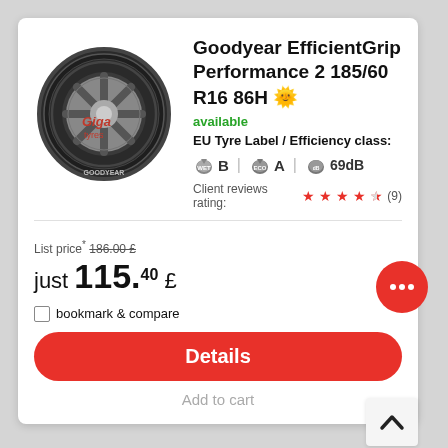Goodyear EfficientGrip Performance 2 185/60 R16 86H
available
EU Tyre Label / Efficiency class:
B  A  69dB
Client reviews rating: ★★★★½ (9)
List price* 186.00 £
just 115.40 £
bookmark & compare
Details
Add to cart